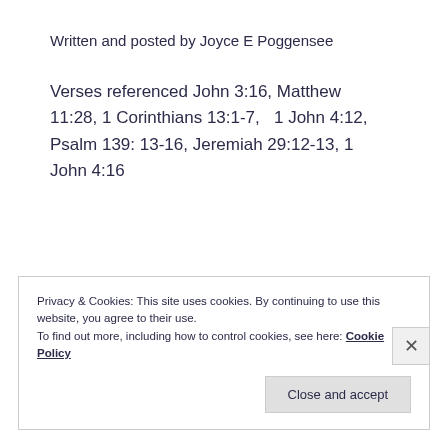Written and posted by Joyce E Poggensee
Verses referenced John 3:16, Matthew 11:28, 1 Corinthians 13:1-7,   1 John 4:12, Psalm 139: 13-16, Jeremiah 29:12-13, 1 John 4:16
Privacy & Cookies: This site uses cookies. By continuing to use this website, you agree to their use.
To find out more, including how to control cookies, see here: Cookie Policy